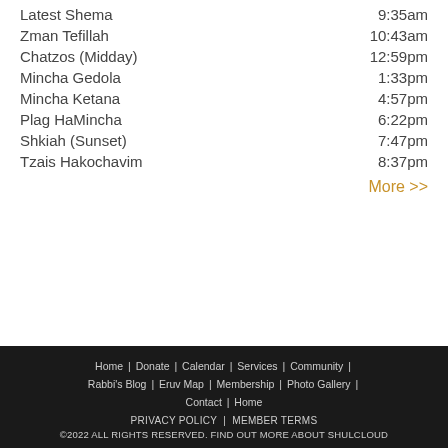Latest Shema  9:35am
Zman Tefillah  10:43am
Chatzos (Midday)  12:59pm
Mincha Gedola  1:33pm
Mincha Ketana  4:57pm
Plag HaMincha  6:22pm
Shkiah (Sunset)  7:47pm
Tzais Hakochavim  8:37pm
More >>
Home | Donate | Calendar | Services | Community | Rabbi's Blog | Eruv Map | Membership | Photo Gallery | Contact | Home  PRIVACY POLICY | MEMBER TERMS  ©2022 ALL RIGHTS RESERVED. FIND OUT MORE ABOUT SHULCLOUD